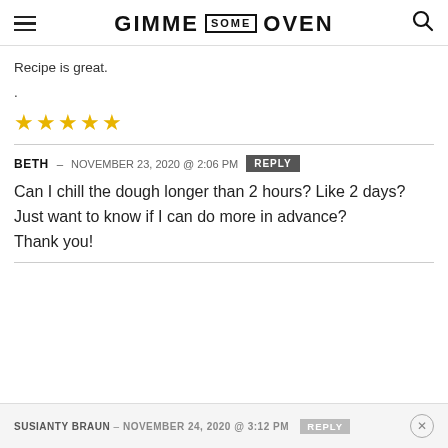GIMME SOME OVEN
Recipe is great.
.
[Figure (other): Five gold star rating icons]
BETH – NOVEMBER 23, 2020 @ 2:06 PM  REPLY
Can I chill the dough longer than 2 hours? Like 2 days? Just want to know if I can do more in advance?
Thank you!
SUSIANTY BRAUN – NOVEMBER 24, 2020 @ 3:12 PM  REPLY